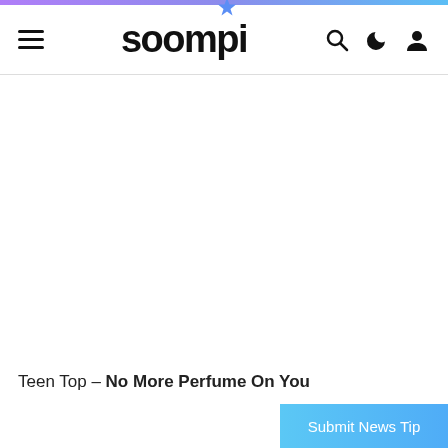soompi
[Figure (other): Large blank white image area (article featured image placeholder)]
Teen Top – No More Perfume On You
Submit News Tip